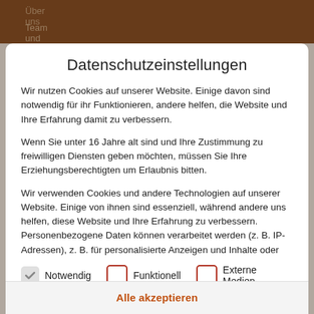Über uns  Team und Vorstand
Datenschutzeinstellungen
Wir nutzen Cookies auf unserer Website. Einige davon sind notwendig für ihr Funktionieren, andere helfen, die Website und Ihre Erfahrung damit zu verbessern.
Wenn Sie unter 16 Jahre alt sind und Ihre Zustimmung zu freiwilligen Diensten geben möchten, müssen Sie Ihre Erziehungsberechtigten um Erlaubnis bitten.
Wir verwenden Cookies und andere Technologien auf unserer Website. Einige von ihnen sind essenziell, während andere uns helfen, diese Website und Ihre Erfahrung zu verbessern. Personenbezogene Daten können verarbeitet werden (z. B. IP-Adressen), z. B. für personalisierte Anzeigen und Inhalte oder
Notwendig
Funktionell
Externe Medien
Alle akzeptieren